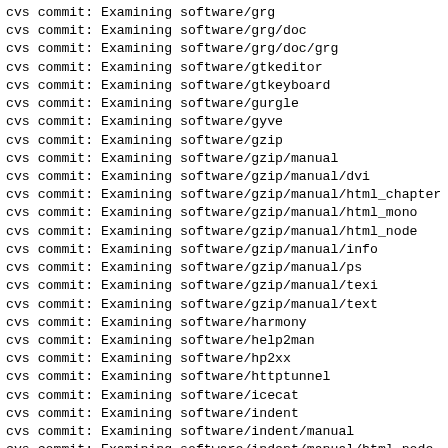cvs commit: Examining software/grg
cvs commit: Examining software/grg/doc
cvs commit: Examining software/grg/doc/grg
cvs commit: Examining software/gtkeditor
cvs commit: Examining software/gtkeyboard
cvs commit: Examining software/gurgle
cvs commit: Examining software/gyve
cvs commit: Examining software/gzip
cvs commit: Examining software/gzip/manual
cvs commit: Examining software/gzip/manual/dvi
cvs commit: Examining software/gzip/manual/html_chapter
cvs commit: Examining software/gzip/manual/html_mono
cvs commit: Examining software/gzip/manual/html_node
cvs commit: Examining software/gzip/manual/info
cvs commit: Examining software/gzip/manual/ps
cvs commit: Examining software/gzip/manual/texi
cvs commit: Examining software/gzip/manual/text
cvs commit: Examining software/harmony
cvs commit: Examining software/help2man
cvs commit: Examining software/hp2xx
cvs commit: Examining software/httptunnel
cvs commit: Examining software/icecat
cvs commit: Examining software/indent
cvs commit: Examining software/indent/manual
cvs commit: Examining software/indent/manual/html_node
cvs commit: Examining software/ispell
cvs commit: Examining software/java
cvs commit: Examining software/java/arc
cvs commit: Examining software/latex-manual
cvs commit: Examining software/less